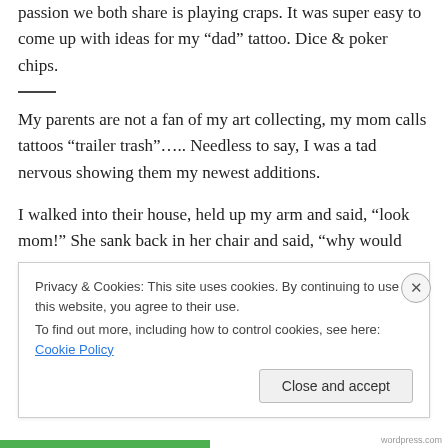passion we both share is playing craps. It was super easy to come up with ideas for my “dad” tattoo. Dice & poker chips.
My parents are not a fan of my art collecting, my mom calls tattoos “trailer trash”….. Needless to say, I was a tad nervous showing them my newest additions.
I walked into their house, held up my arm and said, “look mom!” She sank back in her chair and said, “why would
Privacy & Cookies: This site uses cookies. By continuing to use this website, you agree to their use.
To find out more, including how to control cookies, see here: Cookie Policy